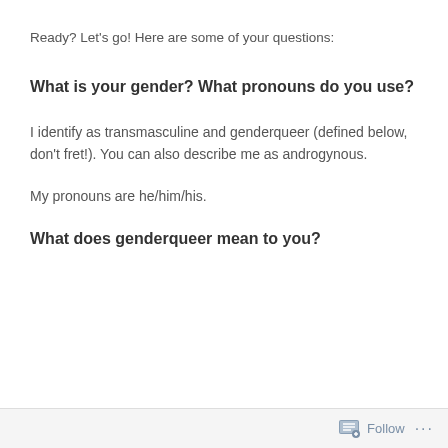Ready? Let's go! Here are some of your questions:
What is your gender? What pronouns do you use?
I identify as transmasculine and genderqueer (defined below, don't fret!). You can also describe me as androgynous.
My pronouns are he/him/his.
What does genderqueer mean to you?
Follow ...